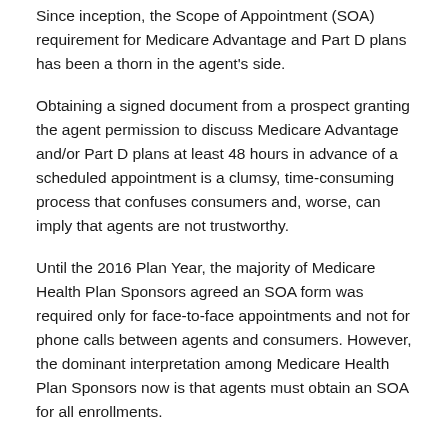Since inception, the Scope of Appointment (SOA) requirement for Medicare Advantage and Part D plans has been a thorn in the agent's side.
Obtaining a signed document from a prospect granting the agent permission to discuss Medicare Advantage and/or Part D plans at least 48 hours in advance of a scheduled appointment is a clumsy, time-consuming process that confuses consumers and, worse, can imply that agents are not trustworthy.
Until the 2016 Plan Year, the majority of Medicare Health Plan Sponsors agreed an SOA form was required only for face-to-face appointments and not for phone calls between agents and consumers. However, the dominant interpretation among Medicare Health Plan Sponsors now is that agents must obtain an SOA for all enrollments.
That said, this year the 48-hour rule was relaxed. CMS clarified this summer that obtaining the form is always required, and doing so 48 hours in advance of a scheduled appointment is preferred. But